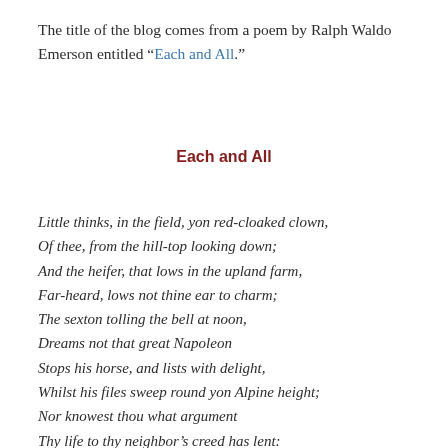The title of the blog comes from a poem by Ralph Waldo Emerson entitled “Each and All.”
Each and All
Little thinks, in the field, yon red-cloaked clown,
Of thee, from the hill-top looking down;
And the heifer, that lows in the upland farm,
Far-heard, lows not thine ear to charm;
The sexton tolling the bell at noon,
Dreams not that great Napoleon
Stops his horse, and lists with delight,
Whilst his files sweep round yon Alpine height;
Nor knowest thou what argument
Thy life to thy neighbor’s creed has lent:
All are needed by each one,